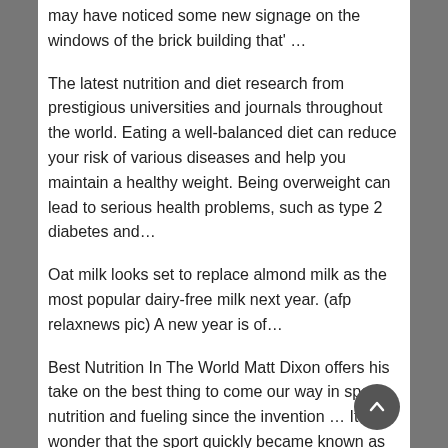may have noticed some new signage on the windows of the brick building that' …
The latest nutrition and diet research from prestigious universities and journals throughout the world. Eating a well-balanced diet can reduce your risk of various diseases and help you maintain a healthy weight. Being overweight can lead to serious health problems, such as type 2 diabetes and…
Oat milk looks set to replace almond milk as the most popular dairy-free milk next year. (afp relaxnews pic) A new year is of…
Best Nutrition In The World Matt Dixon offers his take on the best thing to come our way in sports nutrition and fueling since the invention … It's no wonder that the sport quickly became known as an endeavor for the world's t… Nutrition World is